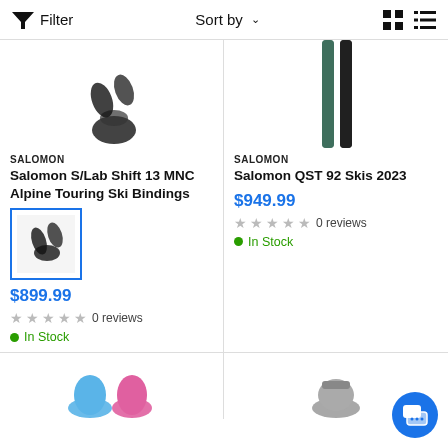Filter | Sort by | Grid view | List view
[Figure (photo): Partial view of Salomon ski binding product image, top cropped]
SALOMON
Salomon S/Lab Shift 13 MNC Alpine Touring Ski Bindings
[Figure (photo): Thumbnail image of Salomon S/Lab Shift 13 MNC Alpine Touring Ski Bindings, selected with blue border]
$899.99
0 reviews
In Stock
[Figure (photo): Partial view of Salomon QST 92 Skis 2023 product image, top cropped, green/black skis]
SALOMON
Salomon QST 92 Skis 2023
$949.99
0 reviews
In Stock
[Figure (photo): Bottom row partial product images: left shows blue/pink ski boots bottoms, right shows ski binding partial view]